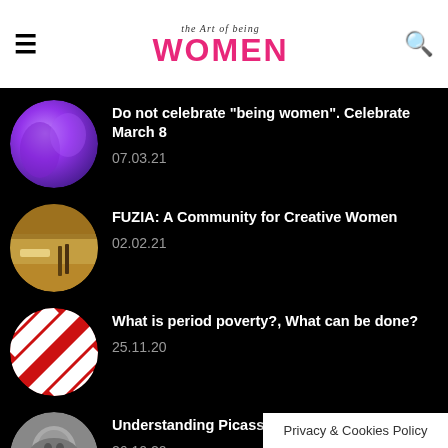the Art of being WOMEN
[Figure (illustration): Purple abstract circular thumbnail]
Do not celebrate "being women". Celebrate March 8
07.03.21
[Figure (photo): Circular photo of hands drawing/painting at desk]
FUZIA: A Community for Creative Women
02.02.21
[Figure (illustration): Red and white geometric pattern circular thumbnail]
What is period poverty?, What can be done?
25.11.20
[Figure (photo): Black and white photo of elderly man (Picasso)]
Understanding Picasso
26.10.20
Privacy & Cookies Policy